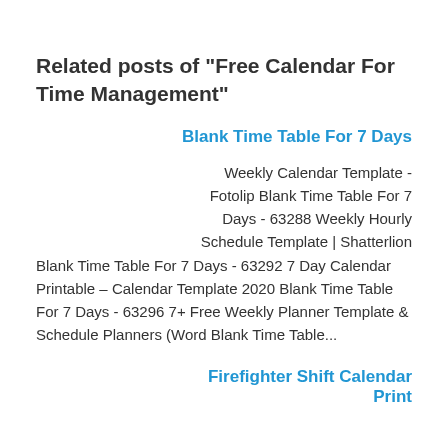Related posts of "Free Calendar For Time Management"
Blank Time Table For 7 Days
Weekly Calendar Template - Fotolip Blank Time Table For 7 Days - 63288 Weekly Hourly Schedule Template | Shatterlion Blank Time Table For 7 Days - 63292 7 Day Calendar Printable – Calendar Template 2020 Blank Time Table For 7 Days - 63296 7+ Free Weekly Planner Template & Schedule Planners (Word Blank Time Table...
Firefighter Shift Calendar Print